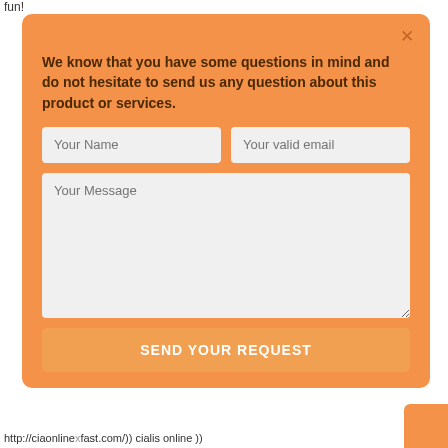fun!
We know that you have some questions in mind and do not hesitate to send us any question about this product or services.
Your Name
Your valid email
Your Message
SEND YOUR REQUEST
http://ciaonlinexfast.com/)) cialis online ))